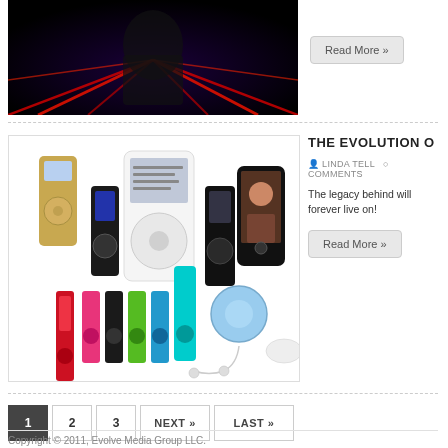[Figure (photo): Dark dramatic photo with red streaks, appears to be a person in a dark jacket with red light rays]
Read More »
[Figure (photo): Collection of iPod devices of various models and colors including iPod mini (gold), iPod classic (white and black), iPod nano (multiple colors: pink, black, green, blue), iPod touch, and iPod shuffle]
THE EVOLUTION O
LINDA TELL    COMMENTS
The legacy behind will forever live on!
Read More »
1
2
3
NEXT »
LAST »
Copyright © 2011, Evolve Media Group LLC.